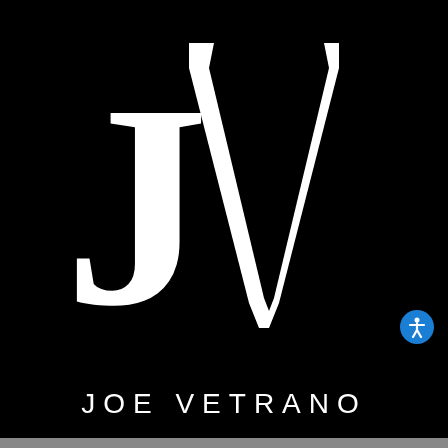[Figure (logo): JV monogram logo in white on black background — large serif letter J on the left and large V on the right forming a combined JV monogram]
JOE VETRANO